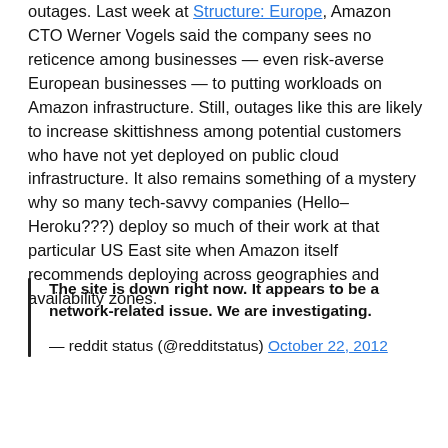outages. Last week at Structure: Europe, Amazon CTO Werner Vogels said the company sees no reticence among businesses — even risk-averse European businesses — to putting workloads on Amazon infrastructure. Still, outages like this are likely to increase skittishness among potential customers who have not yet deployed on public cloud infrastructure. It also remains something of a mystery why so many tech-savvy companies (Hello–Heroku???) deploy so much of their work at that particular US East site when Amazon itself recommends deploying across geographies and availability zones.
The site is down right now. It appears to be a network-related issue. We are investigating.

— reddit status (@redditstatus) October 22, 2012